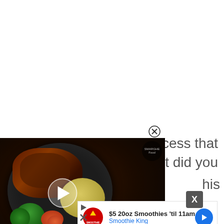an is a process that
Filipinos. But did you
his
dish
may                                   ng
[Figure (screenshot): A video popup overlay showing a steak with mashed potato dish on a dark plate. There is a play button in the center. The title reads 'STEAK with MASHED POTATO' in bold yellow and white italic text. A circular close/X button appears above the video popup. A dark gray X button appears at the bottom right of the popup.]
[Figure (screenshot): An advertisement banner for Smoothie King showing '$5 20oz Smoothies til 11am' with the Smoothie King logo and a blue arrow navigation button.]